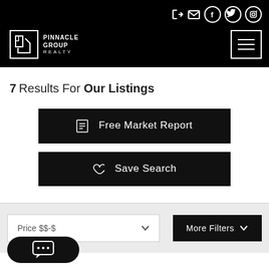Pinnacle Group Realty
7 Results For Our Listings
Free Market Report
Save Search
Price $$-$
More Filters